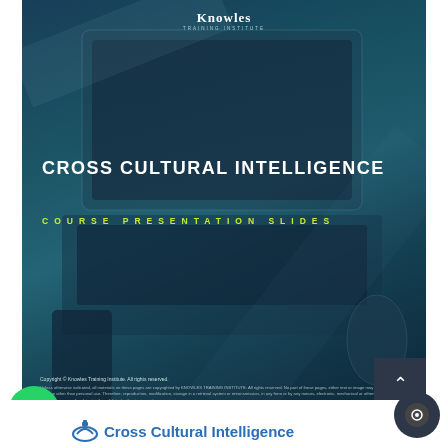[Figure (photo): Dark teal/blue toned cover page with laptop on desk background, featuring the Knowles Training Institute logo at top]
CROSS CULTURAL INTELLIGENCE
COURSE PRESENTATION SLIDES
Copyright © Knowles Training Institute. All rights reserved. Unless otherwise indicated, all materials on these pages are copyrighted by KNOWLES TRAINING INSTITUTE. All rights reserved. No part of these pages, either text or image may be used for any purpose other than personal use. Therefore, reproduction, modification, storage in a retrieval system or retransmission, in any form or by any means, electronic, mechanical or otherwise, for reasons other than personalised, is strictly prohibited without prior written permission.
Cross Cultural Intelligence